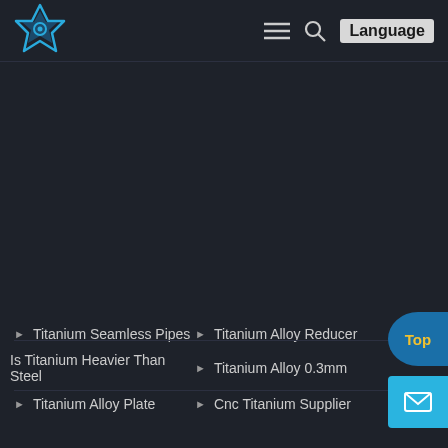Navigation header with logo, hamburger menu, search, and Language button
[Figure (logo): Blue star-like geometric logo with circular center element]
Titanium Seamless Pipes
Titanium Alloy Reducer
Is Titanium Heavier Than Steel
Titanium Alloy 0.3mm
Titanium Alloy Plate
Cnc Titanium Supplier